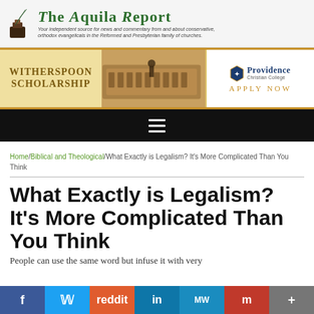[Figure (logo): The Aquila Report logo with quill pen and ink bottle icon, green serif title text, and italic tagline]
[Figure (infographic): Advertisement banner: Witherspoon Scholarship (left, tan background), Roman Colosseum image (center), Providence Christian College Apply Now (right, white background)]
[Figure (other): Black navigation bar with hamburger menu icon]
Home/Biblical and Theological/What Exactly is Legalism? It's More Complicated Than You Think
What Exactly is Legalism? It's More Complicated Than You Think
People can use the same word but infuse it with very
[Figure (other): Social sharing bar with Facebook, Twitter, Reddit, LinkedIn, MeWe, Mix, and More buttons]